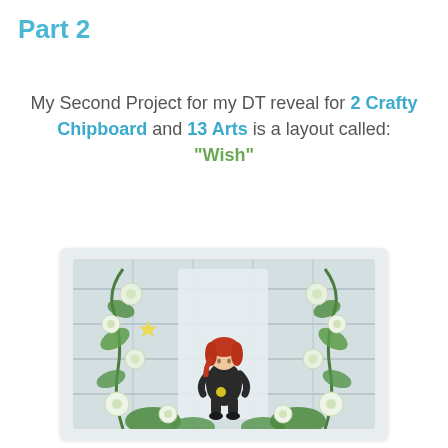Part 2
My Second Project for my DT reveal for 2 Crafty Chipboard and 13 Arts is a layout called: "Wish"
[Figure (photo): Scrapbook layout titled 'Wish' featuring a young girl with red hair sitting among white flowers and green foliage on a rustic wooden background, surrounded by a decorative floral arch.]